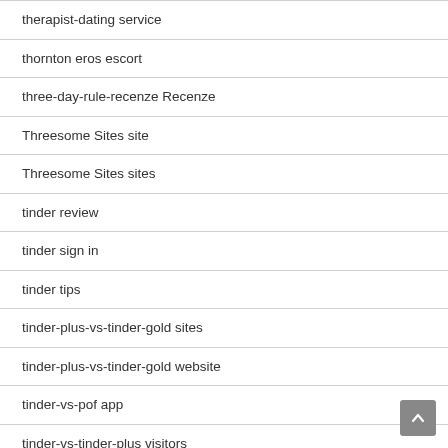therapist-dating service
thornton eros escort
three-day-rule-recenze Recenze
Threesome Sites site
Threesome Sites sites
tinder review
tinder sign in
tinder tips
tinder-plus-vs-tinder-gold sites
tinder-plus-vs-tinder-gold website
tinder-vs-pof app
tinder-vs-tinder-plus visitors